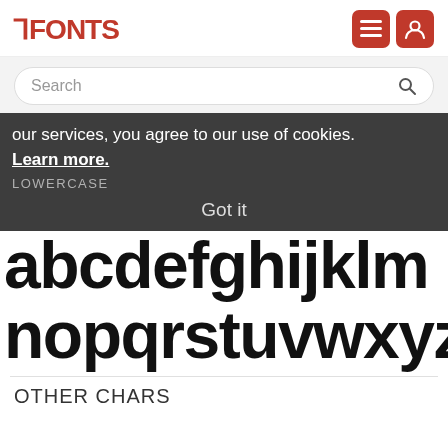FFONTS
Search
our services, you agree to our use of cookies. Learn more.
LOWERCASE
Got it
abcdefghijklm
nopqrstuvwxyz
OTHER CHARS